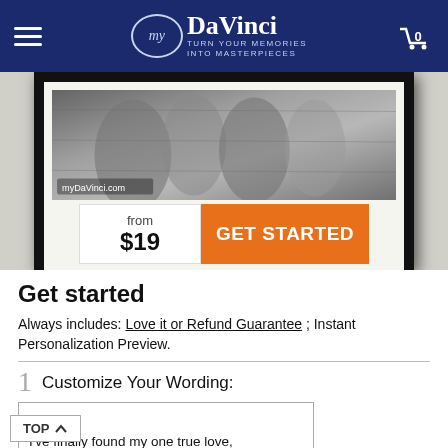myDaVinci — TURN YOUR MEMORIES INTO MASTERPIECES
[Figure (photo): Black and white framed photo of intertwined hands, with myDaVinci.com watermark. Below the frame: 'from $19' and 'GET STARTED' button.]
Get started
Always includes: Love it or Refund Guarantee ; Instant Personalization Preview.
1 Customize Your Wording:
ALEX
I've finally found my one true love,
...as one can be.
And now you're all I'm thinking of,